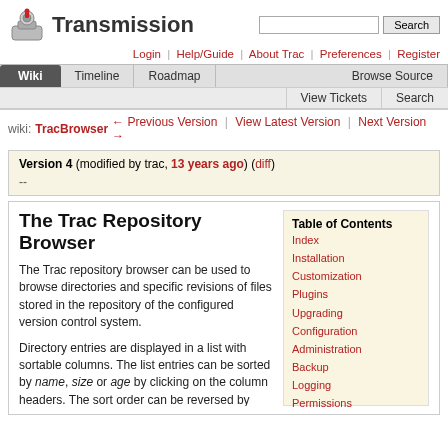Transmission — Wiki navigation with Login, Help/Guide, About Trac, Preferences, Register links. Tabs: Wiki, Timeline, Roadmap, Browse Source, View Tickets, Search.
wiki: TracBrowser ← Previous Version | View Latest Version | Next Version →
Version 4 (modified by trac, 13 years ago) (diff)
--
The Trac Repository Browser
The Trac repository browser can be used to browse directories and specific revisions of files stored in the repository of the configured version control system.
Directory entries are displayed in a list with sortable columns. The list entries can be sorted by name, size or age by clicking on the column headers. The sort order can be reversed by clicking on a given column header again.
The browser can be used to navigate
Table of Contents: Index, Installation, Customization, Plugins, Upgrading, Configuration, Administration, Backup, Logging, Permissions, The Wiki, Wiki Formatting, Timeline, Repository Browser